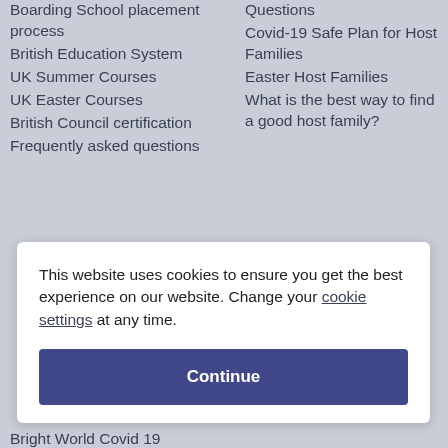Boarding School placement process
British Education System
UK Summer Courses
UK Easter Courses
British Council certification
Frequently asked questions
Questions
Covid-19 Safe Plan for Host Families
Easter Host Families
What is the best way to find a good host family?
This website uses cookies to ensure you get the best experience on our website. Change your cookie settings at any time.
Continue
Bright World Covid 19